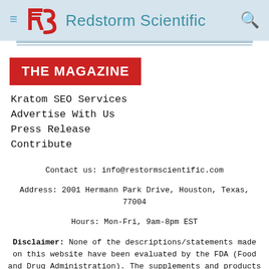Redstorm Scientific
THE MAGAZINE
Kratom SEO Services
Advertise With Us
Press Release
Contribute
Contact us: info@restormscientific.com
Address: 2001 Hermann Park Drive, Houston, Texas, 77004
Hours: Mon-Fri, 9am-8pm EST
Disclaimer: None of the descriptions/statements made on this website have been evaluated by the FDA (Food and Drug Administration). The supplements and products discussed on this site